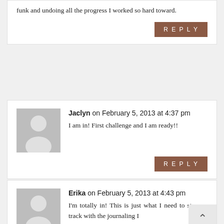funk and undoing all the progress I worked so hard toward.
REPLY
Jaclyn on February 5, 2013 at 4:37 pm
I am in! First challenge and I am ready!!
REPLY
Erika on February 5, 2013 at 4:43 pm
I'm totally in! This is just what I need to stay on track with the journaling I